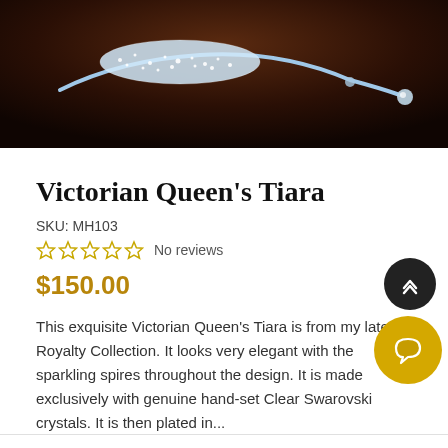[Figure (photo): Close-up photo of a crystal tiara/hair accessory with sparkling rhinestones against a dark brown velvet background]
Victorian Queen's Tiara
SKU: MH103
☆☆☆☆☆  No reviews
$150.00
This exquisite Victorian Queen's Tiara is from my latest Royalty Collection. It looks very elegant with the sparkling spires throughout the design. It is made exclusively with genuine hand-set Clear Swarovski crystals. It is then plated in...